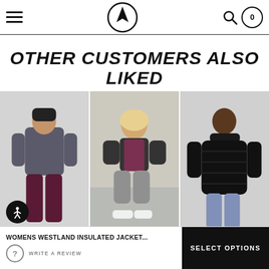Volcom navigation header with hamburger menu, Volcom logo, search icon, and cart
OTHER CUSTOMERS ALSO LIKED
[Figure (photo): Three product photos side by side: woman in dark gray pullover and burgundy ski pants, woman in burgundy vest and gray hoodie sitting on steps, man in black puffer jacket with jeans]
WOMENS WESTLAND INSULATED JACKET...
WRITE A REVIEW
SELECT OPTIONS